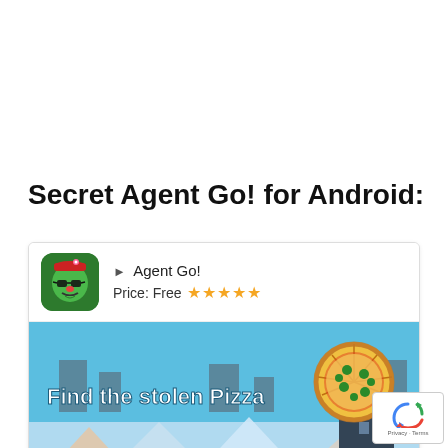Secret Agent Go! for Android:
[Figure (screenshot): App store listing card for 'Agent Go!' showing app icon (green cartoon character with sunglasses), app name with play button, price 'Free' with 5-star rating, and game screenshot showing 'Find the stolen Pizza' text with pizza graphic on blue background with city silhouette]
[Figure (logo): Google reCAPTCHA badge with Privacy and Terms text]